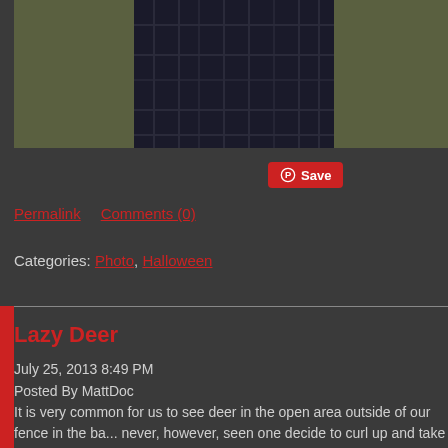[Figure (photo): Partial view of a person wearing dark plaid clothing, standing on grass]
Save (Pinterest button)
Permalink    Comments (0)
Categories: Photo, Halloween
Lazy Deer
July 25, 2013 8:49 PM
Posted By MattDoc
It is very common for us to see deer in the open area outside of our fence in the ba... never, however, seen one decide to curl up and take a break like this.
[Figure (photo): A deer resting/curled up in tall green vegetation]